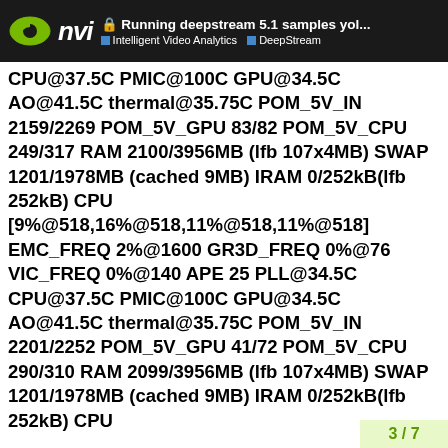Running deepstream 5.1 samples yol... | Intelligent Video Analytics | DeepStream
CPU@37.5C PMIC@100C GPU@34.5C AO@41.5C thermal@35.75C POM_5V_IN 2159/2269 POM_5V_GPU 83/82 POM_5V_CPU 249/317 RAM 2100/3956MB (lfb 107x4MB) SWAP 1201/1978MB (cached 9MB) IRAM 0/252kB(lfb 252kB) CPU [9%@518,16%@518,11%@518,11%@518] EMC_FREQ 2%@1600 GR3D_FREQ 0%@76 VIC_FREQ 0%@140 APE 25 PLL@34.5C CPU@37.5C PMIC@100C GPU@34.5C AO@41.5C thermal@35.75C POM_5V_IN 2201/2252 POM_5V_GPU 41/72 POM_5V_CPU 290/310 RAM 2099/3956MB (lfb 107x4MB) SWAP 1201/1978MB (cached 9MB) IRAM 0/252kB(lfb 252kB) CPU